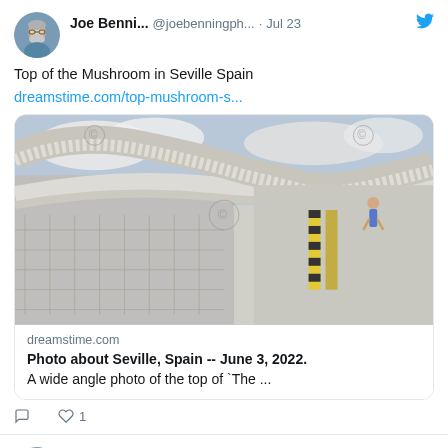Joe Benni... @joebenningph... · Jul 23
Top of the Mushroom in Seville Spain
dreamstime.com/top-mushroom-s...
[Figure (photo): Wide angle photo of the top of The Mushroom architectural structure in Seville, Spain. Shows curved white lattice walkway with a person in blue walking along it. Yellow hazard stripes visible on the path.]
dreamstime.com
Photo about Seville, Spain -- June 3, 2022. A wide angle photo of the top of `The ...
♡ 1
Joe Benni... @joebenningph... · Jul 13
Summer in Seville #Spain #Seville #Summer2022 #outdoors #dining #lunch